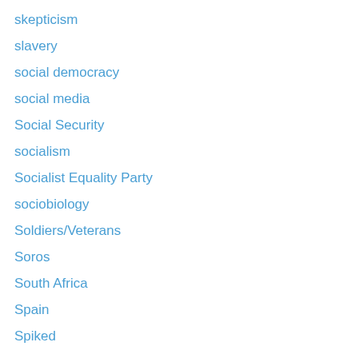skepticism
slavery
social democracy
social media
Social Security
socialism
Socialist Equality Party
sociobiology
Soldiers/Veterans
Soros
South Africa
Spain
Spiked
sports
Stalinism
state capitalism
Steven Salaita
student revolt
subaltern studies
Sudan